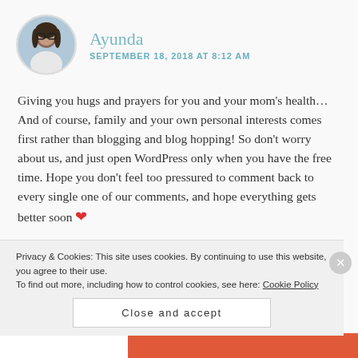[Figure (photo): Circular avatar photo of a young woman with glasses and dark hair, outdoors with trees in background]
Ayunda
SEPTEMBER 18, 2018 AT 8:12 AM
Giving you hugs and prayers for you and your mom’s health… And of course, family and your own personal interests comes first rather than blogging and blog hopping! So don’t worry about us, and just open WordPress only when you have the free time. Hope you don’t feel too pressured to comment back to every single one of our comments, and hope everything gets better soon ❤
Privacy & Cookies: This site uses cookies. By continuing to use this website, you agree to their use.
To find out more, including how to control cookies, see here: Cookie Policy
Close and accept